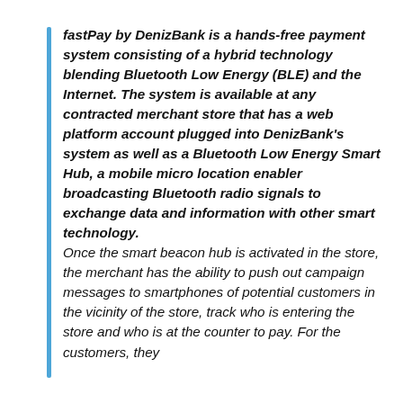fastPay by DenizBank is a hands-free payment system consisting of a hybrid technology blending Bluetooth Low Energy (BLE) and the Internet. The system is available at any contracted merchant store that has a web platform account plugged into DenizBank's system as well as a Bluetooth Low Energy Smart Hub, a mobile micro location enabler broadcasting Bluetooth radio signals to exchange data and information with other smart technology.
Once the smart beacon hub is activated in the store, the merchant has the ability to push out campaign messages to smartphones of potential customers in the vicinity of the store, track who is entering the store and who is at the counter to pay. For the customers, they